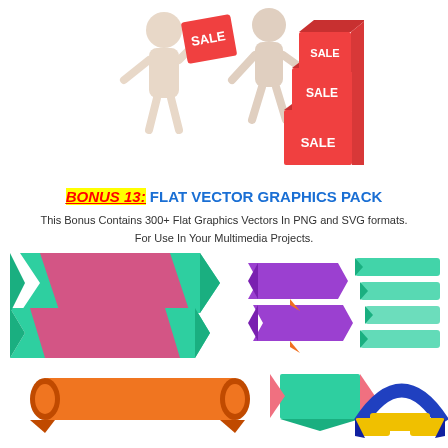[Figure (illustration): Two 3D white humanoid figures holding and stacking red SALE boxes/cubes]
BONUS 13: FLAT VECTOR GRAPHICS PACK
This Bonus Contains 300+ Flat Graphics Vectors In PNG and SVG formats. For Use In Your Multimedia Projects.
[Figure (illustration): Collection of flat vector ribbon/banner graphics in various colors including teal/green/pink zigzag ribbons, purple/orange chevron ribbons, teal stacked ribbons, orange scroll banners, teal/pink banner, blue/yellow arch banner, pink/orange wavy ribbon, and blue/orange geometric banner shapes]